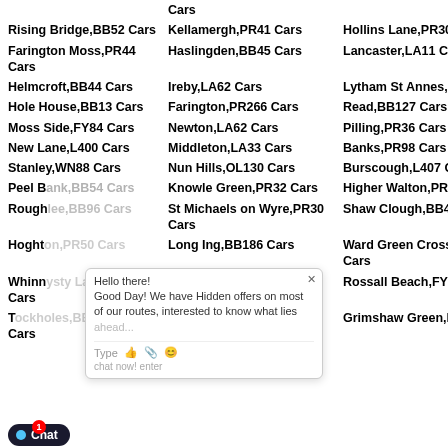Cars
Rising Bridge,BB52 Cars
Kellamergh,PR41 Cars
Hollins Lane,PR30 Cars
Farington Moss,PR44 Cars
Haslingden,BB45 Cars
Lancaster,LA11 Cars
Helmcroft,BB44 Cars
Ireby,LA62 Cars
Lytham St Annes,FY81 Cars
Hole House,BB13 Cars
Farington,PR266 Cars
Read,BB127 Cars
Moss Side,FY84 Cars
Newton,LA62 Cars
Pilling,PR36 Cars
New Lane,L400 Cars
Middleton,LA33 Cars
Banks,PR98 Cars
Stanley,WN88 Cars
Nun Hills,OL130 Cars
Burscough,L407 Cars
Peel Bank,BB54 Cars
Knowle Green,PR32 Cars
Higher Walton,PR54 Cars
Roughlee,BB96 Cars
St Michaels on Wyre,PR30 Cars
Shaw Clough,BB49 Cars
Hoghton,PR50 Cars
Long Ing,BB186 Cars
Ward Green Cross,PR33 Cars
Whinnysty Lane,PR98 Cars
Staynall,FY69 Cars
Rossall Beach,FY51 Cars
Tockholes,BB30 Cars
Walker Fold,BB73 Cars
Grimshaw Green,L403 Cars